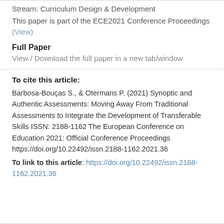Stream: Curriculum Design & Development
This paper is part of the ECE2021 Conference Proceedings
(View)
Full Paper
View / Download the full paper in a new tab/window
To cite this article:
Barbosa-Bouças S., & Otermans P. (2021) Synoptic and Authentic Assessments: Moving Away From Traditional Assessments to Integrate the Development of Transferable Skills ISSN: 2188-1162 The European Conference on Education 2021: Official Conference Proceedings https://doi.org/10.22492/issn.2188-1162.2021.36 To link to this article: https://doi.org/10.22492/issn.2188-1162.2021.36